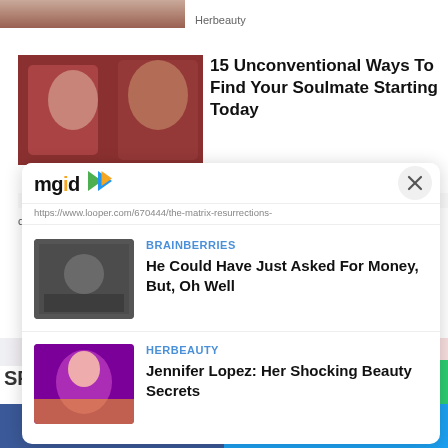[Figure (screenshot): Top partial image of people (cropped), background webpage content]
Herbeauty
[Figure (photo): Photo of a man and woman posing, fitness related]
15 Unconventional Ways To Find Your Soulmate Starting Today
Herbeauty
https://www.looper.com/670444/the-matrix-resurrections-
[Figure (screenshot): MGID advertisement overlay widget with logo, close button, and two sponsored article cards]
BRAINBERRIES
He Could Have Just Asked For Money, But, Oh Well
HERBEAUTY
Jennifer Lopez: Her Shocking Beauty Secrets
SPO
Facebook share | Twitter share